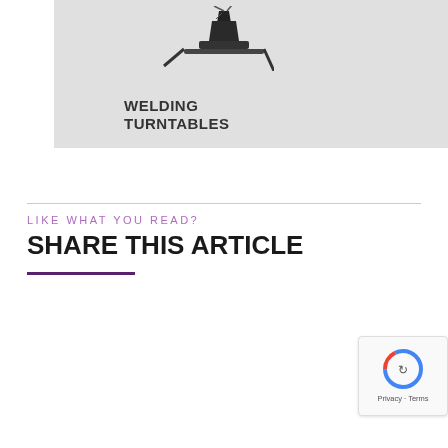[Figure (illustration): Welding turntables product image on grey background with text 'WELDING TURNTABLES']
LIKE WHAT YOU READ?
SHARE THIS ARTICLE
[Figure (infographic): Share buttons: Facebook (dark blue), Linkedin (blue), WhatsApp (green), Email (red)]
[Figure (other): reCAPTCHA badge with Privacy - Terms text]